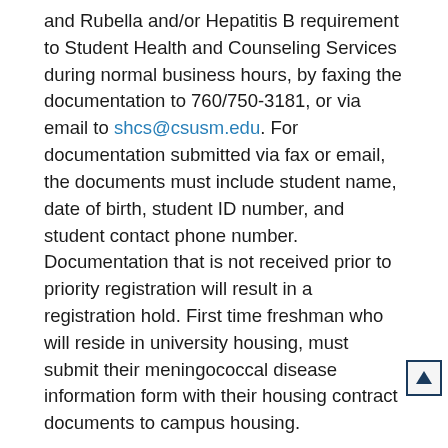and Rubella and/or Hepatitis B requirement to Student Health and Counseling Services during normal business hours, by faxing the documentation to 760/750-3181, or via email to shcs@csusm.edu. For documentation submitted via fax or email, the documents must include student name, date of birth, student ID number, and student contact phone number. Documentation that is not received prior to priority registration will result in a registration hold. First time freshman who will reside in university housing, must submit their meningococcal disease information form with their housing contract documents to campus housing.
Tuberculosis Screening/Risk Assessment: All incoming students must complete a Tuberculosis risk